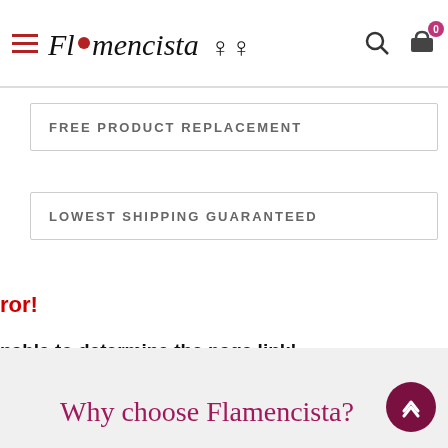Flamencista — navigation header with logo, search, and cart (0 items)
FREE PRODUCT REPLACEMENT
LOWEST SHIPPING GUARANTEED
ror!
nable to determine the page link!
ADD TO BAG
Why choose Flamencista?